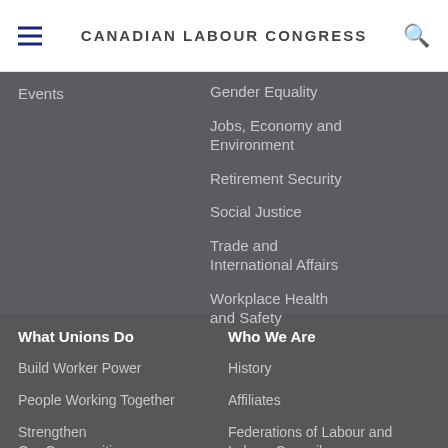CANADIAN LABOUR CONGRESS
Events
Gender Equality
Jobs, Economy and Environment
Retirement Security
Social Justice
Trade and International Affairs
Workplace Health and Safety
What Unions Do
Build Worker Power
People Working Together
Strengthen Our Communities
Who We Are
History
Affiliates
Federations of Labour and Labour Councils